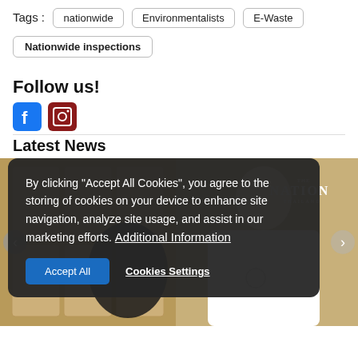Tags : nationwide | Environmentalists | E-Waste
Nationwide inspections
Follow us!
Latest News
By clicking "Accept All Cookies", you agree to the storing of cookies on your device to enhance site navigation, analyze site usage, and assist in our marketing efforts. Additional Information
[Figure (photo): Screenshot of a news website with a cookie consent overlay. Background shows a chef in white uniform posing in a restaurant setting. The Nation Thailand logo is visible in the upper right of the photo.]